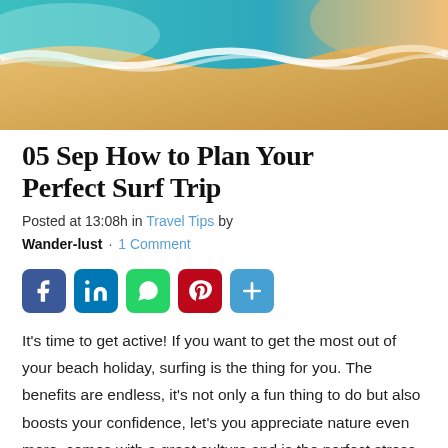[Figure (photo): Aerial view of ocean waves washing onto a sandy beach, teal-blue water with white foam and sandy shore visible from above.]
05 Sep How to Plan Your Perfect Surf Trip
Posted at 13:08h in Travel Tips by Wander-lust · 1 Comment
[Figure (infographic): Social media share buttons: Facebook (blue), LinkedIn (blue), WhatsApp (green), Pinterest (red), Share/More (light blue)]
It's time to get active! If you want to get the most out of your beach holiday, surfing is the thing for you. The benefits are endless, it's not only a fun thing to do but also boosts your confidence, let's you appreciate nature even more, comes with a great culture and is the perfect stress release. On top of that it's a full